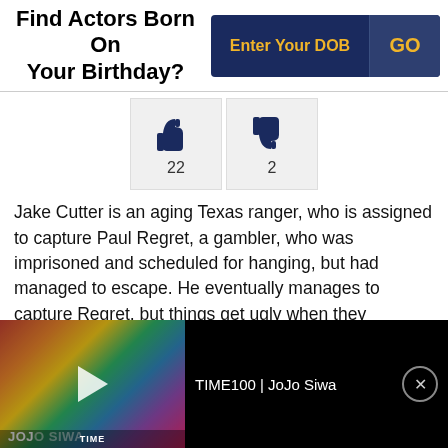Find Actors Born On Your Birthday?
Enter Your DOB
GO
[Figure (infographic): Thumbs up icon with count 22 and thumbs down icon with count 2]
Jake Cutter is an aging Texas ranger, who is assigned to capture Paul Regret, a gambler, who was imprisoned and scheduled for hanging, but had managed to escape. He eventually manages to capture Regret, but things get ugly when they encounter a group of fierce outlaws. The two are forced to unite to stop and defeat them. Regret proves his worth in the fight, after which Cutter begins to have second thoughts about taking him back to the
[Figure (screenshot): Video overlay bar at bottom showing JoJo Siwa thumbnail with play button, title TEXT TIME100 | JoJo Siwa, and a close button]